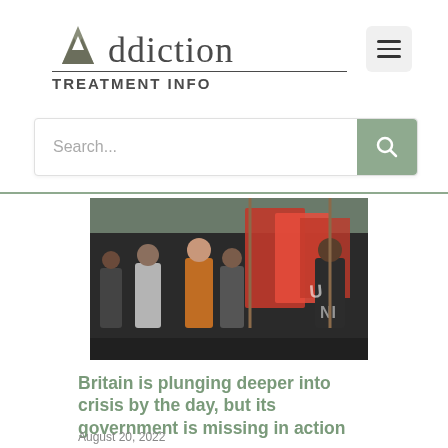[Figure (logo): Addiction Treatment Info website logo with stylized mountain/A icon and serif text]
[Figure (other): Hamburger menu button (three horizontal lines) in a light grey rounded square]
[Figure (other): Search bar with placeholder text 'Search...' and a sage green search button with magnifying glass icon]
[Figure (photo): Group of people at a protest or demonstration holding red flags and banners, outdoor scene]
Britain is plunging deeper into crisis by the day, but its government is missing in action
August 20, 2022